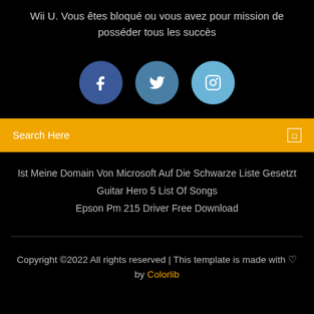Wii U. Vous êtes bloqué ou vous avez pour mission de posséder tous les succès
[Figure (illustration): Three social media icons: Facebook (dark blue circle with f), Twitter (medium blue circle with bird), Instagram (light blue circle with camera icon)]
Search Here
Ist Meine Domain Von Microsoft Auf Die Schwarze Liste Gesetzt
Guitar Hero 5 List Of Songs
Epson Pm 215 Driver Free Download
Copyright ©2022 All rights reserved | This template is made with ♡ by Colorlib